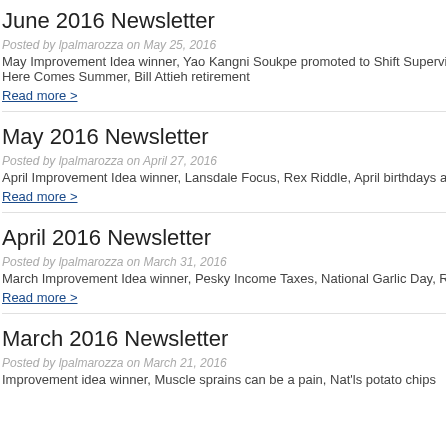June 2016 Newsletter
Posted by lpalmarozza on May 25, 2016
May Improvement Idea winner, Yao Kangni Soukpe promoted to Shift Supervisor, Here Comes Summer, Bill Attieh retirement
Read more >
May 2016 Newsletter
Posted by lpalmarozza on April 27, 2016
April Improvement Idea winner, Lansdale Focus, Rex Riddle, April birthdays an
Read more >
April 2016 Newsletter
Posted by lpalmarozza on March 31, 2016
March Improvement Idea winner, Pesky Income Taxes, National Garlic Day, R
Read more >
March 2016 Newsletter
Posted by lpalmarozza on March 21, 2016
Improvement idea winner, Muscle sprains can be a pain, Nat'ls potato chips...